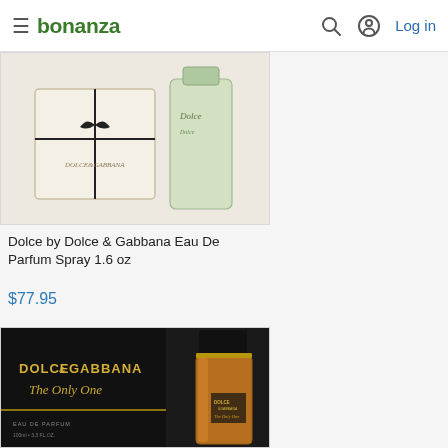bonanza — Log in
[Figure (photo): Dolce by Dolce & Gabbana perfume box and bottle, cream/white box with black ribbon, green-tinted glass bottle]
Dolce by Dolce & Gabbana Eau De Parfum Spray 1.6 oz
$77.95
[Figure (photo): Dolce & Gabbana The Only One perfume: black box with gold lettering and amber/orange glass bottle with black cap]